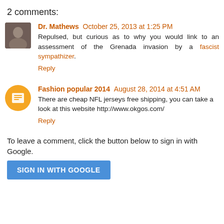2 comments:
Dr. Mathews October 25, 2013 at 1:25 PM
Repulsed, but curious as to why you would link to an assessment of the Grenada invasion by a fascist sympathizer.
Reply
Fashion popular 2014 August 28, 2014 at 4:51 AM
There are cheap NFL jerseys free shipping, you can take a look at this website http://www.okgos.com/
Reply
To leave a comment, click the button below to sign in with Google.